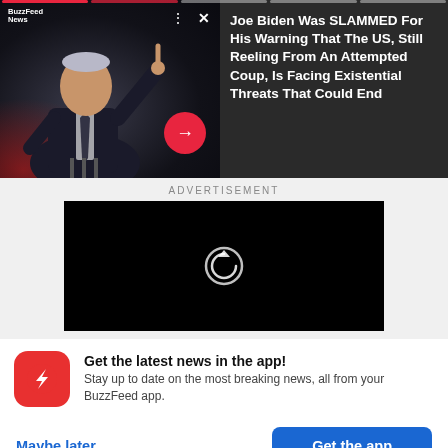[Figure (screenshot): News article card showing Joe Biden speaking at a podium with one finger raised, BuzzFeed News branding, dark background with red lighting. Text overlay reads: 'Joe Biden Was SLAMMED For His Warning That The US, Still Reeling From An Attempted Coup, Is Facing Existential Threats That Could End'. Progress bar at top, overflow menu dots, X close button, and red arrow button visible.]
ADVERTISEMENT
[Figure (screenshot): Black video player area with a white replay/refresh icon in the center]
Get the latest news in the app! Stay up to date on the most breaking news, all from your BuzzFeed app.
Maybe later
Get the app